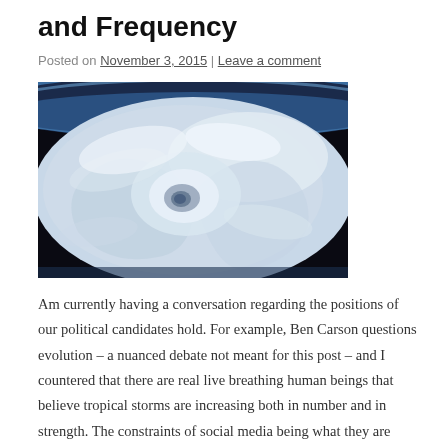and Frequency
Posted on November 3, 2015 | Leave a comment
[Figure (photo): Aerial/satellite view of a hurricane eye from space, showing swirling cloud formations over ocean with Earth's blue horizon visible at top]
Am currently having a conversation regarding the positions of our political candidates hold. For example, Ben Carson questions evolution – a nuanced debate not meant for this post – and I countered that there are real live breathing human beings that believe tropical storms are increasing both in number and in strength.  The constraints of social media being what they are